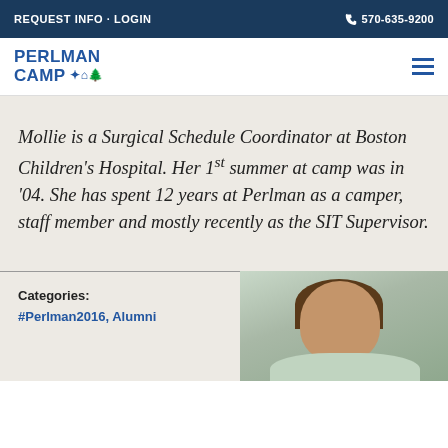REQUEST INFO · LOGIN | 570-635-9200
[Figure (logo): Perlman Camp logo with text PERLMAN CAMP and small icons]
Mollie is a Surgical Schedule Coordinator at Boston Children's Hospital. Her 1st summer at camp was in '04. She has spent 12 years at Perlman as a camper, staff member and mostly recently as the SIT Supervisor.
Categories:
#Perlman2016, Alumni
[Figure (photo): Photo of a young woman with long dark hair, outdoors near white buildings]